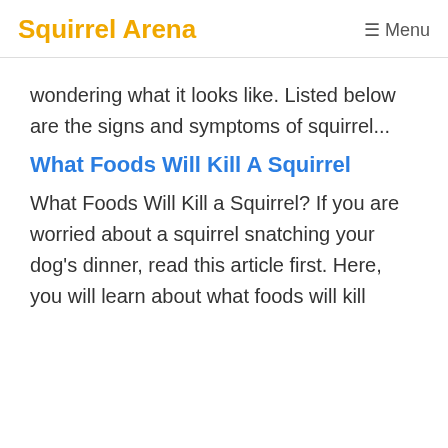Squirrel Arena   ≡ Menu
wondering what it looks like. Listed below are the signs and symptoms of squirrel...
What Foods Will Kill A Squirrel
What Foods Will Kill a Squirrel? If you are worried about a squirrel snatching your dog's dinner, read this article first. Here, you will learn about what foods will kill